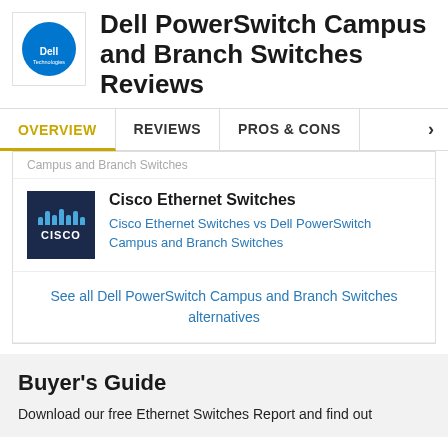Dell PowerSwitch Campus and Branch Switches Reviews
OVERVIEW | REVIEWS | PROS & CONS
Campus and Branch Switches
Cisco Ethernet Switches
Cisco Ethernet Switches vs Dell PowerSwitch Campus and Branch Switches
See all Dell PowerSwitch Campus and Branch Switches alternatives
Buyer's Guide
Download our free Ethernet Switches Report and find out